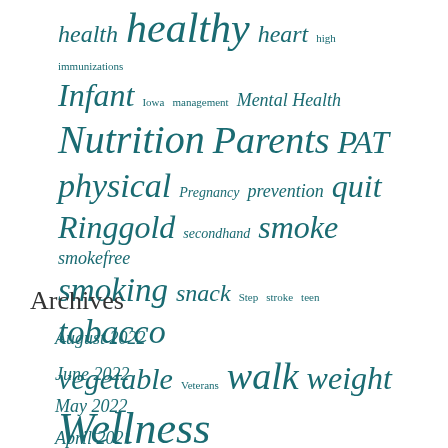[Figure (infographic): Tag cloud with health-related terms in varying sizes and italic teal font, including: health, healthy, heart, high, immunizations, Infant, Iowa, management, Mental Health, Nutrition, Parents, PAT, physical, Pregnancy, prevention, quit, Ringgold, secondhand, smoke, smokefree, smoking, snack, Step, stroke, teen, tobacco, vegetable, Veterans, walk, weight, Wellness]
Archives
August 2022
June 2022
May 2022
April 2021